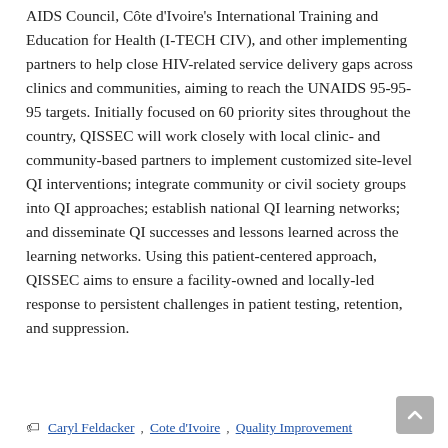AIDS Council, Côte d'Ivoire's International Training and Education for Health (I-TECH CIV), and other implementing partners to help close HIV-related service delivery gaps across clinics and communities, aiming to reach the UNAIDS 95-95-95 targets. Initially focused on 60 priority sites throughout the country, QISSEC will work closely with local clinic- and community-based partners to implement customized site-level QI interventions; integrate community or civil society groups into QI approaches; establish national QI learning networks; and disseminate QI successes and lessons learned across the learning networks. Using this patient-centered approach, QISSEC aims to ensure a facility-owned and locally-led response to persistent challenges in patient testing, retention, and suppression.
Caryl Feldacker, Cote d'Ivoire, Quality Improvement